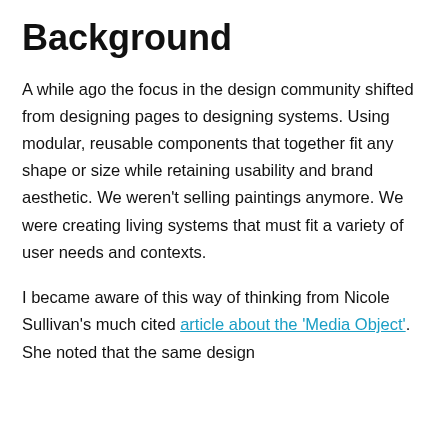Background
A while ago the focus in the design community shifted from designing pages to designing systems. Using modular, reusable components that together fit any shape or size while retaining usability and brand aesthetic. We weren't selling paintings anymore. We were creating living systems that must fit a variety of user needs and contexts.
I became aware of this way of thinking from Nicole Sullivan's much cited article about the 'Media Object'. She noted that the same design